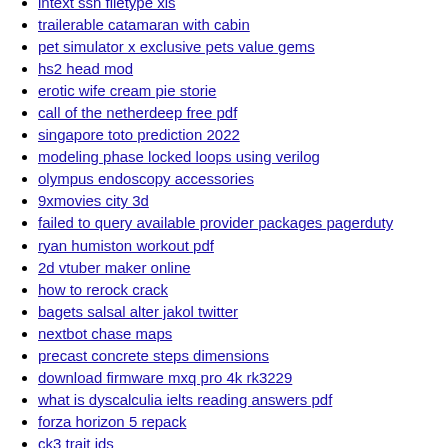intext ssn filetype xls
trailerable catamaran with cabin
pet simulator x exclusive pets value gems
hs2 head mod
erotic wife cream pie storie
call of the netherdeep free pdf
singapore toto prediction 2022
modeling phase locked loops using verilog
olympus endoscopy accessories
9xmovies city 3d
failed to query available provider packages pagerduty
ryan humiston workout pdf
2d vtuber maker online
how to rerock crack
bagets salsal alter jakol twitter
nextbot chase maps
precast concrete steps dimensions
download firmware mxq pro 4k rk3229
what is dyscalculia ielts reading answers pdf
forza horizon 5 repack
ck3 trait ids
wotlk fury warrior warmane
voron stealthburner cad
lost ark founders pack on all characters
chat bypass script roblox 2021